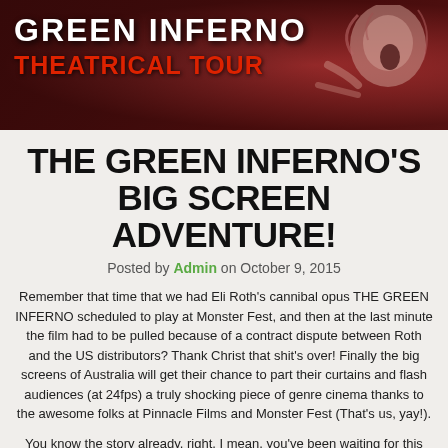[Figure (photo): Banner image for The Green Inferno Theatrical Tour showing movie title text and a screaming woman covered in red]
THE GREEN INFERNO'S BIG SCREEN ADVENTURE!
Posted by Admin on October 9, 2015
Remember that time that we had Eli Roth's cannibal opus THE GREEN INFERNO scheduled to play at Monster Fest, and then at the last minute the film had to be pulled because of a contract dispute between Roth and the US distributors? Thank Christ that shit's over! Finally the big screens of Australia will get their chance to part their curtains and flash audiences (at 24fps) a truly shocking piece of genre cinema thanks to the awesome folks at Pinnacle Films and Monster Fest (That's us, yay!).
You know the story already, right, I mean, you've been waiting for this […]